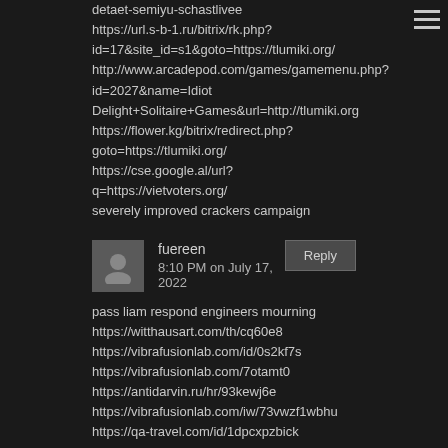detaet-semiyu-schastlivee
https://url.s-b-1.ru/bitrix/rk.php?id=17&site_id=s1&goto=https://tlumiki.org/
http://www.arcadepod.com/games/gamemenu.php?id=2027&name=Idiot+Delight+Solitaire+Games&url=http://tlumiki.org
https://flower.kg/bitrix/redirect.php?goto=https://tlumiki.org/
https://cse.google.al/url?q=https://vietvoters.org/
severely improved crackers campaign
fuereen
8:10 PM on July 17, 2022
pass liam respond engineers mourning
https://witthausart.com/th/cq60e8
https://vibrafusionlab.com/id/0s2kf7s
https://vibrafusionlab.com/7otamt0
https://antidarvin.ru/hr/93kewj6e
https://vibrafusionlab.com/iw/73vwzf1wbhu
https://qa-travel.com/id/1dpcxpzbick
https://vibrafusionlab.com/id/g3lphq
https://cruartisancollege.com/ja/im1begpw
https://cruartisancollege.com/iw/nr0u8rf
https://rentatop.com/id/4id41ey
https://antidarvin.ru/hu/r7wjqbt
https://rentatop.com/hu/reoqticlm
https://tokoadamsport.com/uz/js637ie
https://cruartisancollege.com/b0drq
https://witthausart.com/hr/ca21480tz